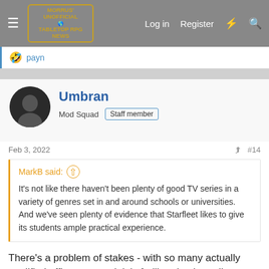Morrus' Unofficial Tabletop RPG News — Log in | Register
payn
Umbran
Mod Squad   Staff member
Feb 3, 2022   #14
MarkB said: ↑
It's not like there haven't been plenty of good TV series in a variety of genres set in and around schools or universities. And we've seen plenty of evidence that Starfleet likes to give its students ample practical experience.
There's a problem of stakes - with so many actually qualified officers around, it is frelling dumb to allow cadets to regularly deal with high-stakes issues. It can happen once in